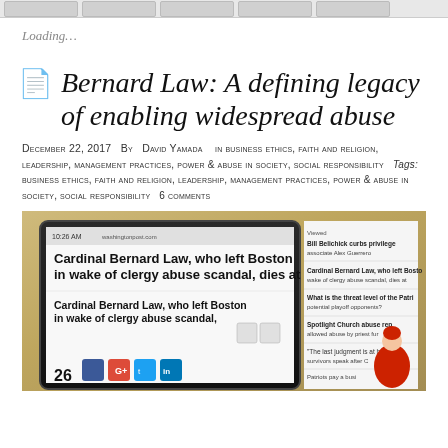Loading...
Bernard Law: A defining legacy of enabling widespread abuse
December 22, 2017  By  David Yamada   in  Business Ethics, faith and religion, leadership, management practices, power & abuse in society, social responsibility   Tags:  Business Ethics, faith and religion, leadership, management practices, power & abuse in society, social responsibility   6 Comments
[Figure (photo): Photo of a tablet/screen showing a news article headline: 'Cardinal Bernard Law, who left Boston in wake of clergy abuse scandal, dies at 86' with social sharing buttons (Facebook, Google+, Twitter, LinkedIn) and a side column with related article snippets. A figure in red cardinal robes is partially visible at the right edge.]